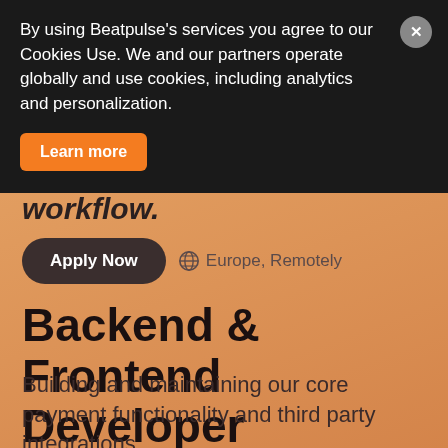workflow.
Apply Now   🌐 Europe, Remotely
Backend & Frontend Developer
Building and maintaining our core payment functionality and third party integrations.
By using Beatpulse's services you agree to our Cookies Use. We and our partners operate globally and use cookies, including analytics and personalization.
Learn more